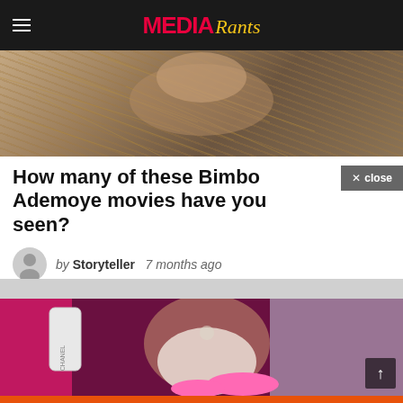MEDIA Rants
[Figure (photo): Close-up photo of a person lying in hay/straw, warm brown tones]
How many of these Bimbo Ademoye movies have you seen?
by Storyteller   7 months ago
[Figure (photo): Person in white lace dress holding chest, pink Chanel themed background with fluffy pink slippers]